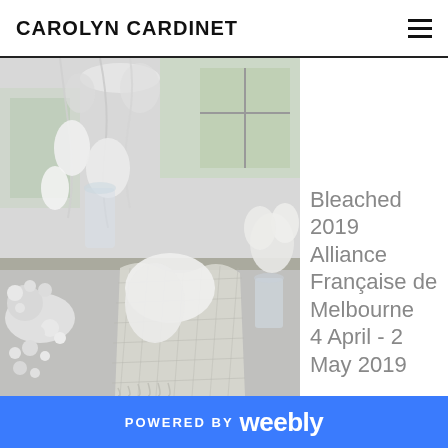CAROLYN CARDINET
[Figure (photo): Black and white photograph of a white art installation featuring bleached coral-like sculptural forms, netting, glass vessels, and hanging white organic shapes in an interior gallery space with windows.]
Bleached
2019
Alliance Française de Melbourne
4 April - 2 May 2019
POWERED BY weebly